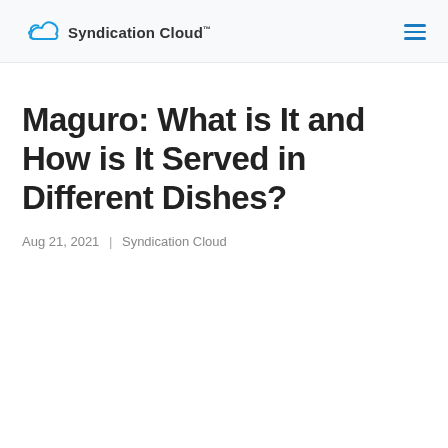Syndication Cloud™
Maguro: What is It and How is It Served in Different Dishes?
Aug 21, 2021 | Syndication Cloud